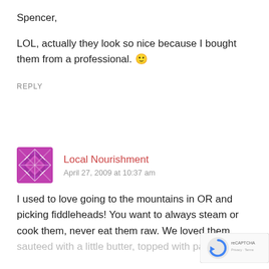Spencer,
LOL, actually they look so nice because I bought them from a professional. 🙂
REPLY
[Figure (illustration): Avatar icon for Local Nourishment — purple/magenta geometric diamond/cross pattern tile]
Local Nourishment
April 27, 2009 at 10:37 am
I used to love going to the mountains in OR and picking fiddleheads! You want to always steam or cook them, never eat them raw. We loved them
sauteed with a little butter, topped with parmes
[Figure (logo): reCAPTCHA logo badge in bottom right corner]
Privacy · Terms